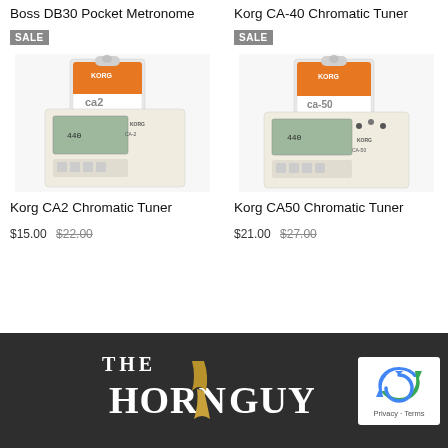Boss DB30 Pocket Metronome
Korg CA-40 Chromatic Tuner
SALE
SALE
[Figure (photo): Korg CA2 Chromatic Tuner product photo with orange packaging and white device]
[Figure (photo): Korg CA50 Chromatic Tuner product photo with orange packaging and white device]
Korg CA2 Chromatic Tuner
$15.00 $22.00
Korg CA50 Chromatic Tuner
$21.00 $27.00
[Figure (logo): The Horn Guys logo in white and gold on dark background]
[Figure (other): reCAPTCHA widget with Privacy and Terms links]